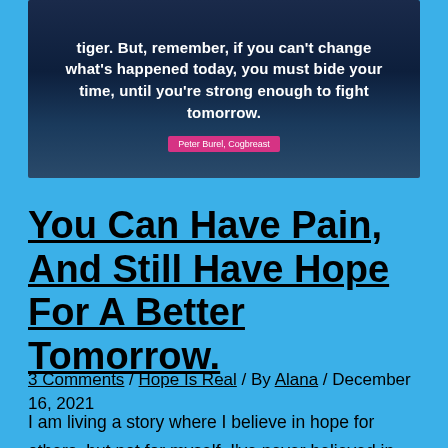[Figure (illustration): Dark blue starry night sky background with white bold text quote: 'Tiger. But, remember, if you can't change what's happened today, you must bide your time, until you're strong enough to fight tomorrow.' with a pink/magenta author tag reading 'Peter Burel, Cogbreast']
You Can Have Pain, And Still Have Hope For A Better Tomorrow.
3 Comments / Hope Is Real / By Alana / December 16, 2021
I am living a story where I believe in hope for others, but not for myself. I've never believed in myself, or that a better ending is even possible for me. This week, I've been challenged, I've been